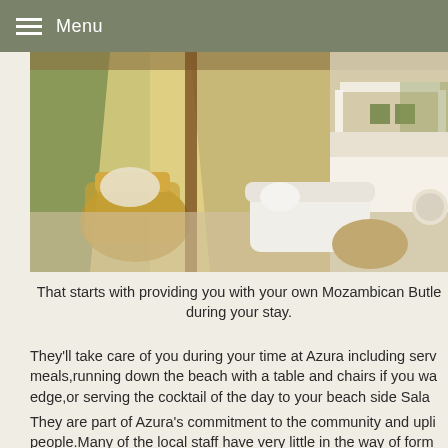Menu
[Figure (photo): Interior of a luxury lodge villa showing a wicker armchair with cushions near large open glass doors leading to a sunlit wooden deck with tropical vegetation, and to the right a white canopy bed with green accent pillows and a white sofa with a round wooden coffee table.]
That starts with providing you with your own Mozambican Butle during your stay.
They'll take care of you during your time at Azura including serv meals,running down the beach with a table and chairs if you wa edge,or serving the cocktail of the day to your beach side Sala
They are part of Azura's commitment to the community and upli people.Many of the local staff have very little in the way of form